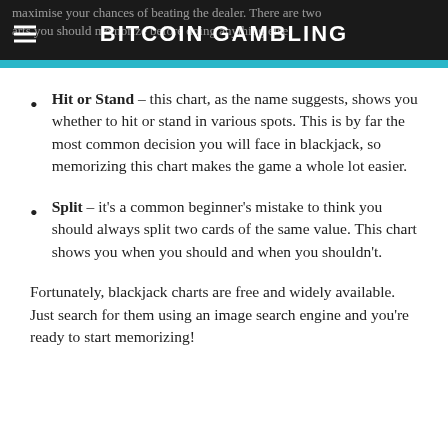BITCOIN GAMBLING
Hit or Stand – this chart, as the name suggests, shows you whether to hit or stand in various spots. This is by far the most common decision you will face in blackjack, so memorizing this chart makes the game a whole lot easier.
Split – it's a common beginner's mistake to think you should always split two cards of the same value. This chart shows you when you should and when you shouldn't.
Fortunately, blackjack charts are free and widely available. Just search for them using an image search engine and you're ready to start memorizing!